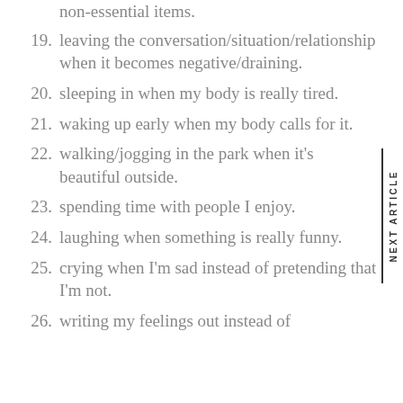non-essential items.
19. leaving the conversation/situation/relationship when it becomes negative/draining.
20. sleeping in when my body is really tired.
21. waking up early when my body calls for it.
22. walking/jogging in the park when it's beautiful outside.
23. spending time with people I enjoy.
24. laughing when something is really funny.
25. crying when I'm sad instead of pretending that I'm not.
26. writing my feelings out instead of